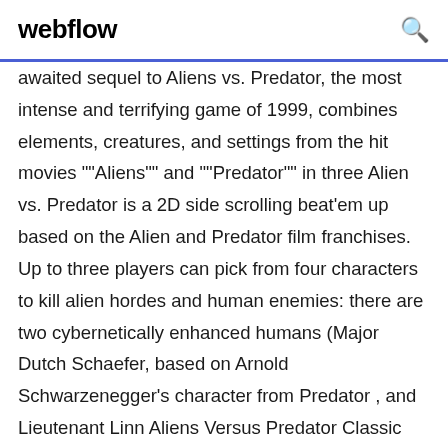webflow
awaited sequel to Aliens vs. Predator, the most intense and terrifying game of 1999, combines elements, creatures, and settings from the hit movies ""Aliens"" and ""Predator"" in three Alien vs. Predator is a 2D side scrolling beat'em up based on the Alien and Predator film franchises. Up to three players can pick from four characters to kill alien hordes and human enemies: there are two cybernetically enhanced humans (Major Dutch Schaefer, based on Arnold Schwarzenegger's character from Predator , and Lieutenant Linn Aliens Versus Predator Classic 2000 features the Colonial Marine, Alien and Predator Campaigns and the frenetic single-player Skirmish mode